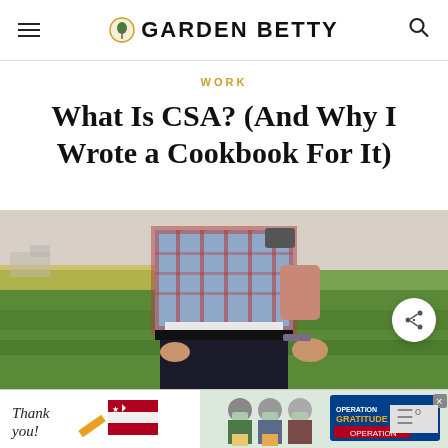GARDEN BETTY
WORK
What Is CSA? (And Why I Wrote a Cookbook For It)
[Figure (photo): Person standing in a farm field wearing a plaid shirt, viewed from behind, with green crops and yellow flowering plants in the background]
[Figure (photo): Advertisement banner: 'Thank you!' with Operation Gratitude imagery showing masked workers holding packages]